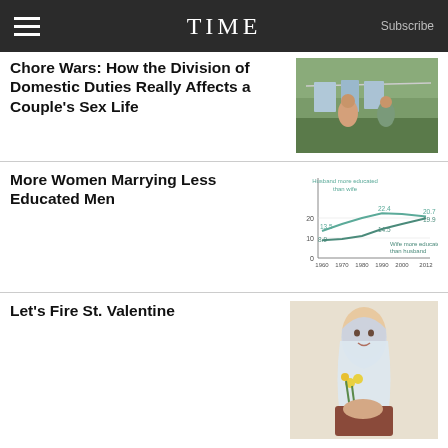TIME  Subscribe
Chore Wars: How the Division of Domestic Duties Really Affects a Couple's Sex Life
[Figure (photo): Couple hanging laundry on a clothesline outdoors]
More Women Marrying Less Educated Men
[Figure (line-chart): Husband more educated than wife / Wife more educated than husband]
Let's Fire St. Valentine
[Figure (illustration): Illustration of a woman in medieval/religious dress holding flowers and a book]